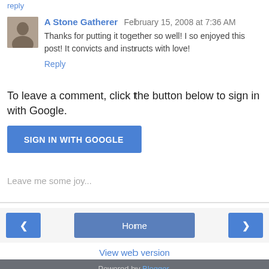reply
A Stone Gatherer  February 15, 2008 at 7:36 AM
Thanks for putting it together so well! I so enjoyed this post! It convicts and instructs with love!
Reply
To leave a comment, click the button below to sign in with Google.
[Figure (screenshot): Blue 'SIGN IN WITH GOOGLE' button]
Leave me some joy...
[Figure (screenshot): Navigation bar with left arrow, Home button, and right arrow]
View web version
Powered by Blogger.